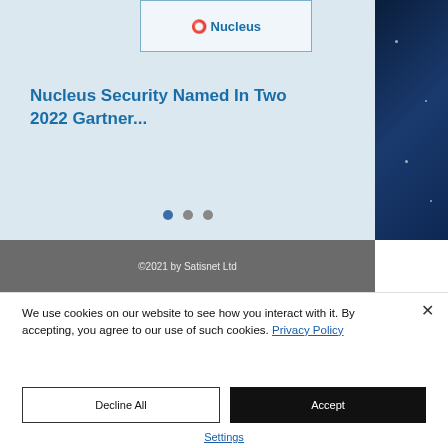[Figure (screenshot): Light blue card section showing Nucleus Security logo at top and article title text below. Dark blue starfield panel on right side.]
Nucleus Security Named In Two 2022 Gartner...
©2021 by Satisnet Ltd
We use cookies on our website to see how you interact with it. By accepting, you agree to our use of such cookies. Privacy Policy
Decline All
Accept
Settings